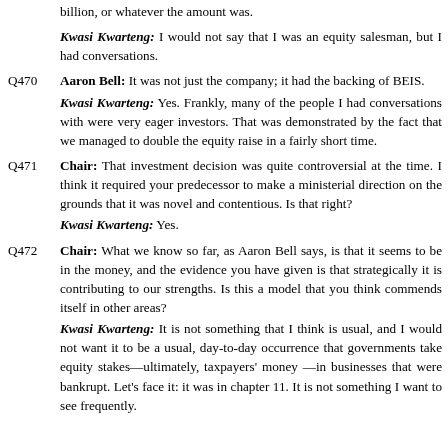billion, or whatever the amount was.
Kwasi Kwarteng: I would not say that I was an equity salesman, but I had conversations.
Q470  Aaron Bell: It was not just the company; it had the backing of BEIS.
Kwasi Kwarteng: Yes. Frankly, many of the people I had conversations with were very eager investors. That was demonstrated by the fact that we managed to double the equity raise in a fairly short time.
Q471  Chair: That investment decision was quite controversial at the time. I think it required your predecessor to make a ministerial direction on the grounds that it was novel and contentious. Is that right?
Kwasi Kwarteng: Yes.
Q472  Chair: What we know so far, as Aaron Bell says, is that it seems to be in the money, and the evidence you have given is that strategically it is contributing to our strengths. Is this a model that you think commends itself in other areas?
Kwasi Kwarteng: It is not something that I think is usual, and I would not want it to be a usual, day-to-day occurrence that governments take equity stakes—ultimately, taxpayers' money—in businesses that were bankrupt. Let's face it: it was in chapter 11. It is not something I want to see frequently.